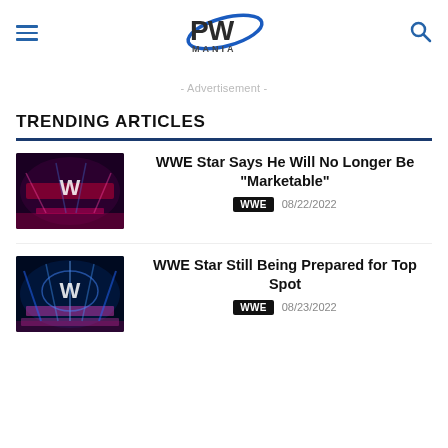PW MANIA
- Advertisement -
TRENDING ARTICLES
[Figure (photo): WWE arena stage with red and blue lighting and WWE logo]
WWE Star Says He Will No Longer Be “Marketable”
WWE  08/22/2022
[Figure (photo): WWE arena stage with blue and pink lighting and WWE logo]
WWE Star Still Being Prepared for Top Spot
WWE  08/23/2022